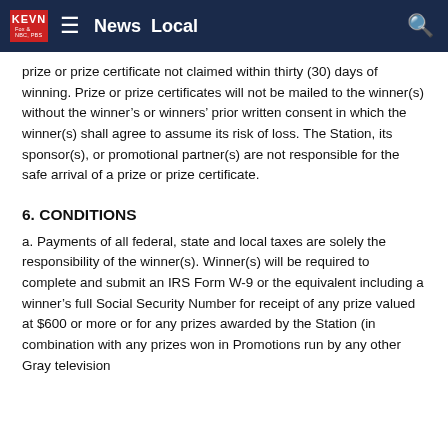KEVN News Local
prize or prize certificate not claimed within thirty (30) days of winning. Prize or prize certificates will not be mailed to the winner(s) without the winner's or winners' prior written consent in which the winner(s) shall agree to assume its risk of loss. The Station, its sponsor(s), or promotional partner(s) are not responsible for the safe arrival of a prize or prize certificate.
6. CONDITIONS
a. Payments of all federal, state and local taxes are solely the responsibility of the winner(s). Winner(s) will be required to complete and submit an IRS Form W-9 or the equivalent including a winner's full Social Security Number for receipt of any prize valued at $600 or more or for any prizes awarded by the Station (in combination with any prizes won in Promotions run by any other Gray television